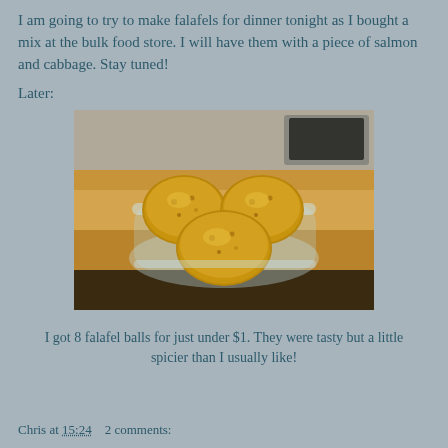I am going to try to make falafels for dinner tonight as I bought a mix at the bulk food store. I will have them with a piece of salmon and cabbage. Stay tuned!
Later:
[Figure (photo): Four falafel balls in a clear glass square bowl sitting on a wooden countertop with kitchen appliances in the background.]
I got 8 falafel balls for just under $1. They were tasty but a little spicier than I usually like!
Chris at 15:24    2 comments: